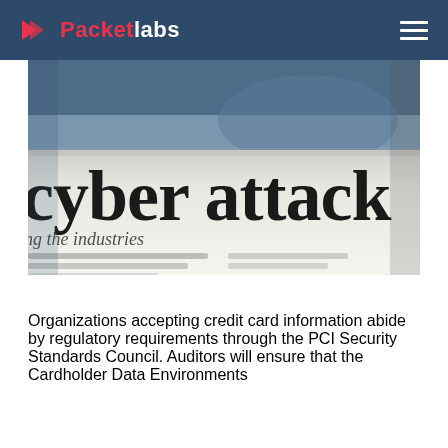Packetlabs
[Figure (photo): Close-up photograph of a newspaper headline reading 'cyber attack' in large serif font, with blurred smaller text below and a blurred background.]
Organizations accepting credit card information abide by regulatory requirements through the PCI Security Standards Council. Auditors will ensure that the Cardholder Data Environments